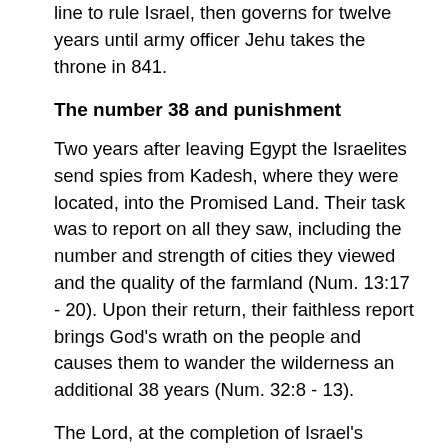line to rule Israel, then governs for twelve years until army officer Jehu takes the throne in 841.
The number 38 and punishment
Two years after leaving Egypt the Israelites send spies from Kadesh, where they were located, into the Promised Land. Their task was to report on all they saw, including the number and strength of cities they viewed and the quality of the farmland (Num. 13:17 - 20). Upon their return, their faithless report brings God's wrath on the people and causes them to wander the wilderness an additional 38 years (Num. 32:8 - 13).
The Lord, at the completion of Israel's punishment (38 years after the initial report from their spies), finally commands the people to travel north. They are allowed to cross the Zered River into the territory belonging to the Moabites (Deuteronomy 2:13 - 15). Then, only after the death of both Aaron and Moses, are the Israelites